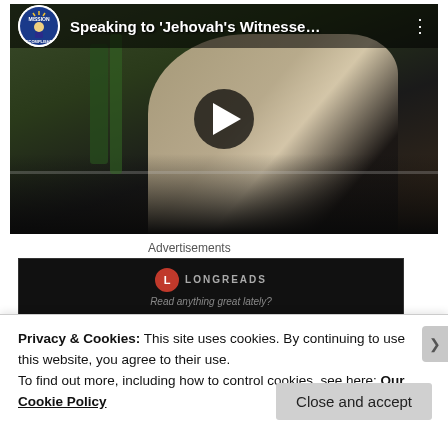[Figure (screenshot): YouTube video thumbnail showing a man with glasses outdoors near a fence and trees. Video title: 'Speaking to Jehovah's Witnesse...' with a Mission Accomplished channel icon and a play button overlay.]
Advertisements
[Figure (screenshot): Advertisement banner for Longreads. Dark background with Longreads logo (red circle with L) and text 'Read anything great lately?']
Privacy & Cookies: This site uses cookies. By continuing to use this website, you agree to their use.
To find out more, including how to control cookies, see here: Our Cookie Policy
Close and accept